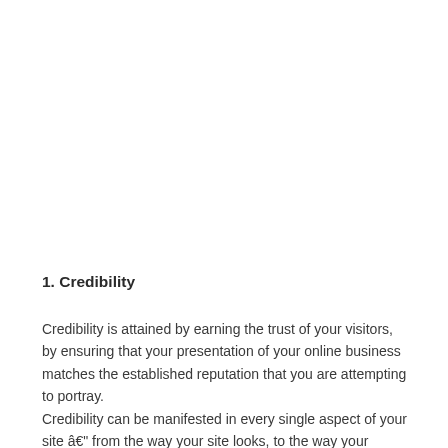1. Credibility
Credibility is attained by earning the trust of your visitors, by ensuring that your presentation of your online business matches the established reputation that you are attempting to portray.
Credibility can be manifested in every single aspect of your site – from the way your site looks, to the way your content is